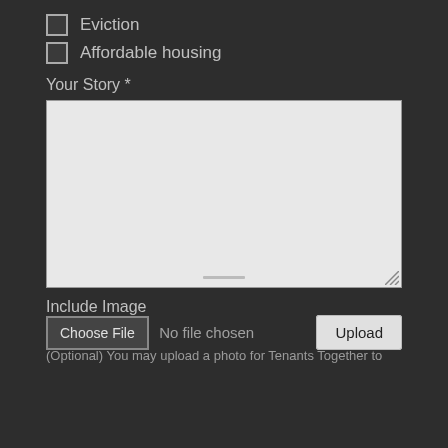Eviction
Affordable housing
Your Story *
[Figure (other): Large empty textarea input field for user story submission with resize handle and scrollbar indicator]
Include Image
Choose File  No file chosen  Upload
(Optional) You may upload a photo for Tenants Together to